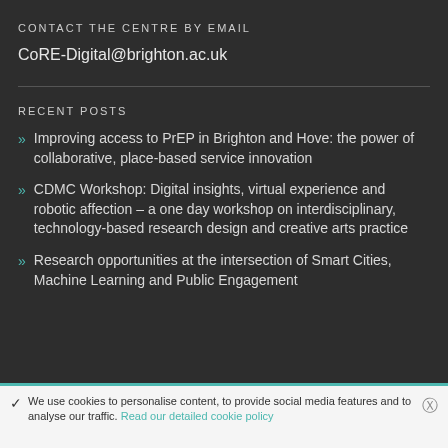CONTACT THE CENTRE BY EMAIL
CoRE-Digital@brighton.ac.uk
RECENT POSTS
Improving access to PrEP in Brighton and Hove: the power of collaborative, place-based service innovation
CDMC Workshop: Digital insights, virtual experience and robotic affection – a one day workshop on interdisciplinary, technology-based research design and creative arts practice
Research opportunities at the intersection of Smart Cities, Machine Learning and Public Engagement
We use cookies to personalise content, to provide social media features and to analyse our traffic. Read our detailed cookie policy